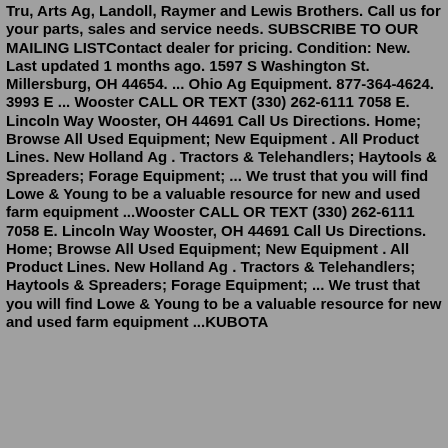Tru, Arts Ag, Landoll, Raymer and Lewis Brothers. Call us for your parts, sales and service needs. SUBSCRIBE TO OUR MAILING LISTContact dealer for pricing. Condition: New. Last updated 1 months ago. 1597 S Washington St. Millersburg, OH 44654. ... Ohio Ag Equipment. 877-364-4624. 3993 E ... Wooster CALL OR TEXT (330) 262-6111 7058 E. Lincoln Way Wooster, OH 44691 Call Us Directions. Home; Browse All Used Equipment; New Equipment . All Product Lines. New Holland Ag . Tractors & Telehandlers; Haytools & Spreaders; Forage Equipment; ... We trust that you will find Lowe & Young to be a valuable resource for new and used farm equipment ...Wooster CALL OR TEXT (330) 262-6111 7058 E. Lincoln Way Wooster, OH 44691 Call Us Directions. Home; Browse All Used Equipment; New Equipment . All Product Lines. New Holland Ag . Tractors & Telehandlers; Haytools & Spreaders; Forage Equipment; ... We trust that you will find Lowe & Young to be a valuable resource for new and used farm equipment ...KUBOTA